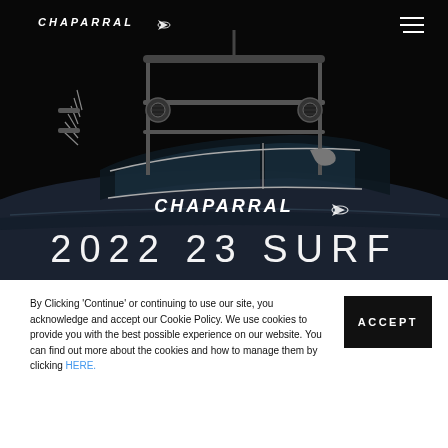[Figure (photo): Dark studio photograph of a Chaparral 2022 23 Surf wakeboard boat with black tower, chrome accents, and Chaparral logo on the hull, against a black background. Large text '2022 23 SURF' overlays the bottom of the image. Chaparral logo and hamburger menu in top corners.]
By Clicking 'Continue' or continuing to use our site, you acknowledge and accept our Cookie Policy. We use cookies to provide you with the best possible experience on our website. You can find out more about the cookies and how to manage them by clicking HERE.